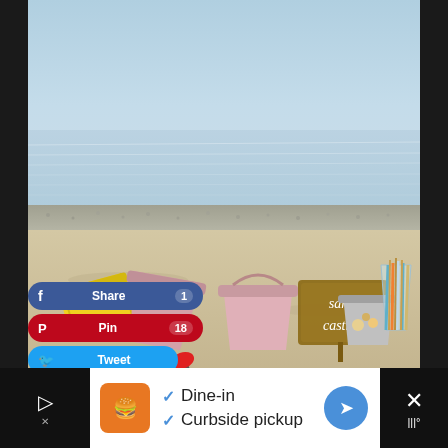[Figure (photo): Beach scene with calm sea water, pebble shoreline, sandy beach in foreground with colourful buckets (yellow, pink), a wooden 'sand castles' sign, a metal bucket with snacks, and a glass with striped straws. Social share buttons overlay the bottom-left: Share 1 (blue), Pin 18 (red), Tweet (light blue).]
Dine-in
Curbside pickup